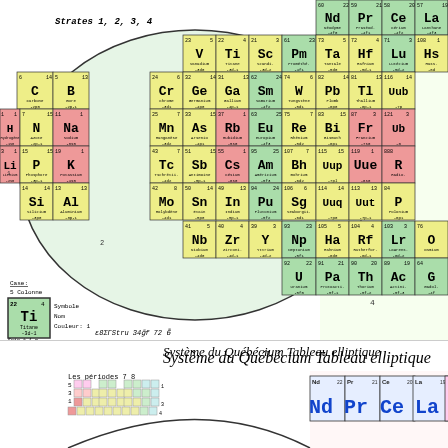Strates 1, 2, 3, 4
[Figure (infographic): Système du Québécium Tableau elliptique — elliptical periodic table showing elements organized in strates/periods with colored cells (yellow, green, red/pink) indicating element groups. Elements shown include H, Li, C, B, N, P, Si, Al, Na, K, Sc, Ti, V, Cr, Ge, Ga, Mn, As, Rb, Mo, Sn, In, Nb, Zr, Y, Sm, W, Pb, Tl, Eu, Re, Bi, Fr, Am, Bh, Uup, Uue, Pu, Sg, Uuq, Uut, Np, Ha, Rf, Lr, U, Pa, Th, Ac, Nd, Pr, Ce, La and more with atomic numbers and electron configurations.]
Système du Québécium Tableau elliptique
Les périodes 7  8
[Figure (infographic): Bottom portion showing the elliptical periodic table system with period labels 1-8 and colored grid squares, with elements Nd, Pr, Ce, La visible at bottom right.]